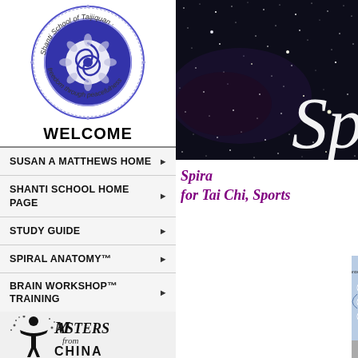[Figure (logo): Shanti School of Taijiquan circular logo with blue mandala design and text 'freedom through peacefulness']
WELCOME
SUSAN A MATTHEWS HOME ▶
SHANTI SCHOOL HOME PAGE ▶
STUDY GUIDE ▶
SPIRAL ANATOMY™ ▶
BRAIN WORKSHOP™ TRAINING ▶
GEORGE XU HOME PAGE ▶
CONTACT US
[Figure (logo): Masters from China logo with figure silhouette and stylized text]
[Figure (photo): Dark starry night sky background with large white italic 'Sp' text]
Spiral Anatomy™ for Tai Chi, Sports...
[Figure (infographic): Spiral Anatomy Learning Pathways diagram with connected circular nodes on blue background]
Get t... Learn how spiritual in strengthening development looking fo...